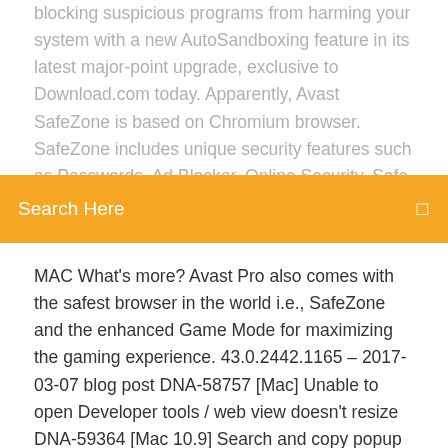blocking suspicious programs from harming your system with a new AutoSandboxing feature in its latest major-point upgrade, exclusive to Download.com today. Apparently, Avast SafeZone is based on Chromium browser. SafeZone includes unique security features such as Passwords, Ad Blocker, Online Security, Safe Price add-ons, Video Downloader, etc. Avast
Search Here
MAC What's more? Avast Pro also comes with the safest browser in the world i.e., SafeZone and the enhanced Game Mode for maximizing the gaming experience. 43.0.2442.1165 – 2017-03-07 blog post DNA-58757 [Mac] Unable to open Developer tools / web view doesn't resize DNA-59364 [Mac 10.9] Search and copy popup is too big 43.0.2442.1144 – 2017-02-28 blog post DNA-58913 [Win7] Pinned shortcut is... ████████ 2011年3月にE6 CountdownというIE6の使用状況を集計するサービスが開始され、それによれば2015年2月時点でIE6のシェアは世界で3.1%存在している